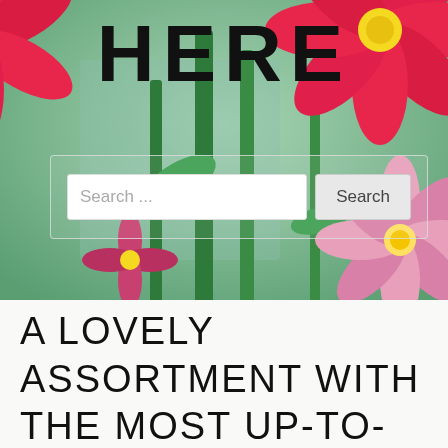[Figure (photo): Floral background photo with pink daisy-like flowers and green stems against a soft green/teal backdrop]
HERE
Search ...
Search
A LOVELY ASSORTMENT WITH THE MOST UP-TO-DATE PATTERNS IN